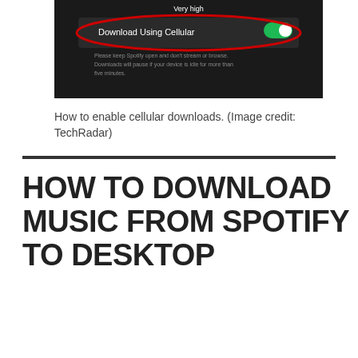[Figure (screenshot): Screenshot of a Spotify mobile settings screen showing 'Download Using Cellular' toggle switched on (green), with a red ellipse highlight around the toggle. Background is dark/black. Text visible includes 'Very high' and 'Download Using Cellular' and a note about keeping Spotify open.]
How to enable cellular downloads. (Image credit: TechRadar)
HOW TO DOWNLOAD MUSIC FROM SPOTIFY TO DESKTOP